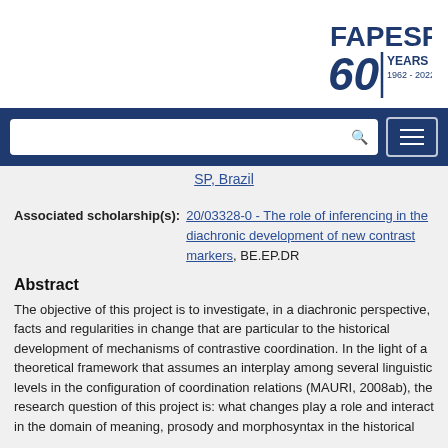[Figure (logo): FAPESP 60 Years 1962-2022 logo]
SP, Brazil
Associated scholarship(s): 20/03328-0 - The role of inferencing in the diachronic development of new contrast markers, BE.EP.DR
Abstract
The objective of this project is to investigate, in a diachronic perspective, facts and regularities in change that are particular to the historical development of mechanisms of contrastive coordination. In the light of a theoretical framework that assumes an interplay among several linguistic levels in the configuration of coordination relations (MAURI, 2008ab), the research question of this project is: what changes play a role and interact in the domain of meaning, prosody and morphosyntax in the historical